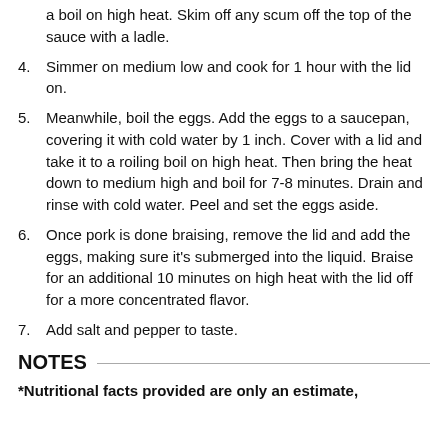a boil on high heat. Skim off any scum off the top of the sauce with a ladle.
4. Simmer on medium low and cook for 1 hour with the lid on.
5. Meanwhile, boil the eggs. Add the eggs to a saucepan, covering it with cold water by 1 inch. Cover with a lid and take it to a roiling boil on high heat. Then bring the heat down to medium high and boil for 7-8 minutes. Drain and rinse with cold water. Peel and set the eggs aside.
6. Once pork is done braising, remove the lid and add the eggs, making sure it's submerged into the liquid. Braise for an additional 10 minutes on high heat with the lid off for a more concentrated flavor.
7. Add salt and pepper to taste.
NOTES
*Nutritional facts provided are only an estimate,